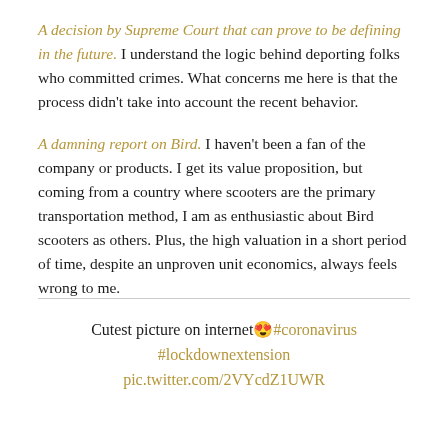A decision by Supreme Court that can prove to be defining in the future. I understand the logic behind deporting folks who committed crimes. What concerns me here is that the process didn't take into account the recent behavior.
A damning report on Bird. I haven't been a fan of the company or products. I get its value proposition, but coming from a country where scooters are the primary transportation method, I am as enthusiastic about Bird scooters as others. Plus, the high valuation in a short period of time, despite an unproven unit economics, always feels wrong to me.
Cutest picture on internet😍#coronavirus #lockdownextension pic.twitter.com/2VYcdZ1UWR